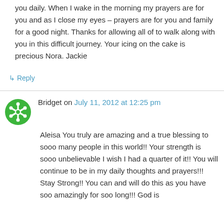you daily. When I wake in the morning my prayers are for you and as I close my eyes – prayers are for you and family for a good night. Thanks for allowing all of to walk along with you in this difficult journey. Your icing on the cake is precious Nora. Jackie
↳ Reply
Bridget on July 11, 2012 at 12:25 pm
Aleisa You truly are amazing and a true blessing to sooo many people in this world!! Your strength is sooo unbelievable I wish I had a quarter of it!! You will continue to be in my daily thoughts and prayers!!! Stay Strong!! You can and will do this as you have soo amazingly for soo long!!! God is